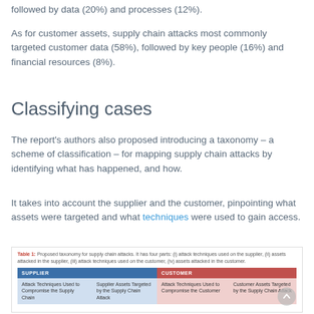followed by data (20%) and processes (12%).
As for customer assets, supply chain attacks most commonly targeted customer data (58%), followed by key people (16%) and financial resources (8%).
Classifying cases
The report's authors also proposed introducing a taxonomy – a scheme of classification – for mapping supply chain attacks by identifying what has happened, and how.
It takes into account the supplier and the customer, pinpointing what assets were targeted and what techniques were used to gain access.
[Figure (table-as-image): Table 1: Proposed taxonomy for supply chain attacks. It has four parts: (i) attack techniques used on the supplier, (ii) assets attacked in the supplier, (iii) attack techniques used on the customer, (iv) assets attacked in the customer. The table has two main columns: SUPPLIER and CUSTOMER, each subdivided into attack techniques and assets targeted.]